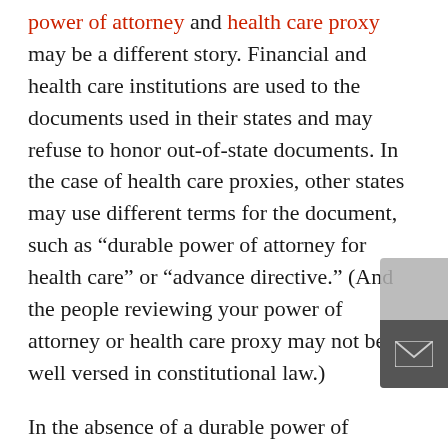power of attorney and health care proxy may be a different story. Financial and health care institutions are used to the documents used in their states and may refuse to honor out-of-state documents. In the case of health care proxies, other states may use different terms for the document, such as “durable power of attorney for health care” or “advance directive.” (And the people reviewing your power of attorney or health care proxy may not be well versed in constitutional law.)
In the absence of a durable power of attorney or health care proxy, family members often must resort to going to court to be appointed guardian or conservator. This causes delay and expensive and unnecessary legal fees. So, even though it should not be necessary, if you do spend a good part of the